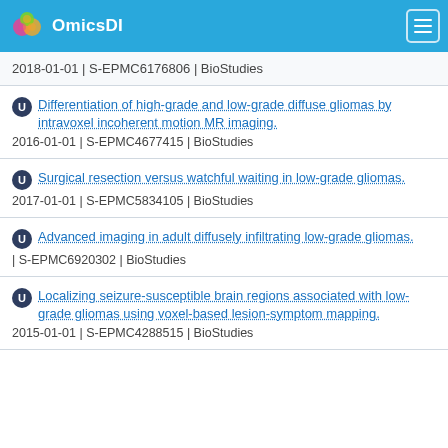OmicsDI
2018-01-01 | S-EPMC6176806 | BioStudies
Differentiation of high-grade and low-grade diffuse gliomas by intravoxel incoherent motion MR imaging.
2016-01-01 | S-EPMC4677415 | BioStudies
Surgical resection versus watchful waiting in low-grade gliomas.
2017-01-01 | S-EPMC5834105 | BioStudies
Advanced imaging in adult diffusely infiltrating low-grade gliomas.
| S-EPMC6920302 | BioStudies
Localizing seizure-susceptible brain regions associated with low-grade gliomas using voxel-based lesion-symptom mapping.
2015-01-01 | S-EPMC4288515 | BioStudies